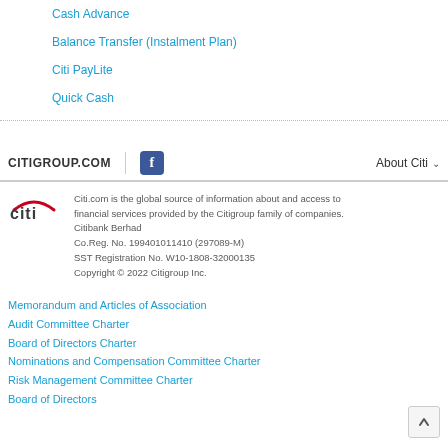Cash Advance
Balance Transfer (Instalment Plan)
Citi PayLite
Quick Cash
CITIGROUP.COM | f | About Citi
Citi.com is the global source of information about and access to financial services provided by the Citigroup family of companies. Citibank Berhad Co.Reg. No. 199401011410 (297089-M) SST Registration No. W10-1808-32000135 Copyright © 2022 Citigroup Inc.
Memorandum and Articles of Association
Audit Committee Charter
Board of Directors Charter
Nominations and Compensation Committee Charter
Risk Management Committee Charter
Board of Directors